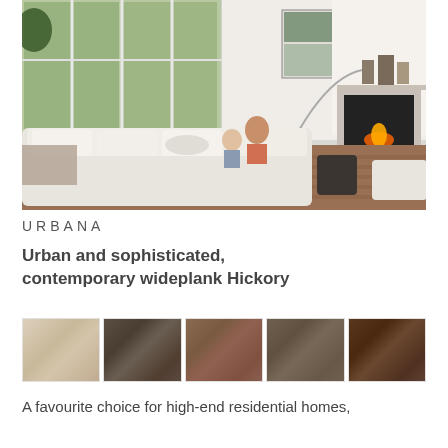[Figure (photo): Interior living room scene with large windows, white sectional sofa, family sitting together, fireplace with marble surround, decorative shelving with vases, and hardwood flooring.]
URBANA
Urban and sophisticated, contemporary wideplank Hickory
[Figure (other): Five wood flooring color swatch samples ranging from light beige/cream to dark chocolate brown.]
A favourite choice for high-end residential homes,